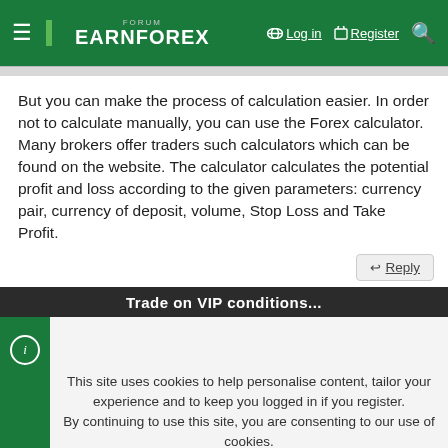FORUM EARNFOREX — Log in | Register
But you can make the process of calculation easier. In order not to calculate manually, you can use the Forex calculator. Many brokers offer traders such calculators which can be found on the website. The calculator calculates the potential profit and loss according to the given parameters: currency pair, currency of deposit, volume, Stop Loss and Take Profit.
↩ Reply
Trade on VIP conditions
This site uses cookies to help personalise content, tailor your experience and to keep you logged in if you register.
By continuing to use this site, you are consenting to our use of cookies.
✓ Accept | Learn more...